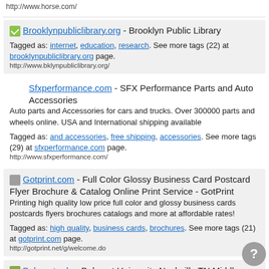http://www.horse.com/
Brooklynpubliclibrary.org - Brooklyn Public Library
Tagged as: internet, education, research. See more tags (22) at brooklynpubliclibrary.org page.
http://www.bklynpubliclibrary.org/
Sfxperformance.com - SFX Performance Parts and Auto Accessories
Auto parts and Accessories for cars and trucks. Over 300000 parts and wheels online. USA and International shipping available
Tagged as: and accessories, free shipping, accessories. See more tags (29) at sfxperformance.com page.
http://www.sfxperformance.com/
Gotprint.com - Full Color Glossy Business Card Postcard Flyer Brochure & Catalog Online Print Service - GotPrint
Printing high quality low price full color and glossy business cards postcards flyers brochures catalogs and more at affordable rates!
Tagged as: high quality, business cards, brochures. See more tags (21) at gotprint.com page.
http://gotprint.net/g/welcome.do
Belmont.edu - Belmont University Nashville TN Middle Tennessee Liberal Arts College 615-460-6000